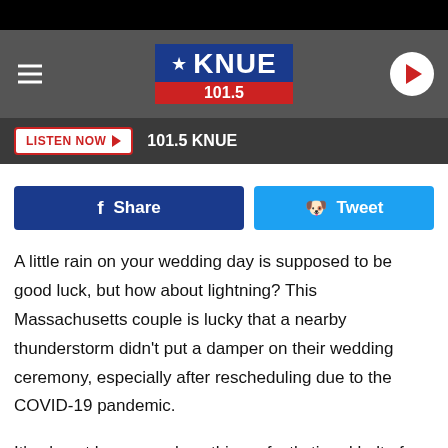[Figure (screenshot): KNUE 101.5 radio station header banner with hamburger menu, star logo, and play button]
LISTEN NOW ▶  101.5 KNUE
[Figure (infographic): Facebook Share and Twitter Tweet social sharing buttons]
A little rain on your wedding day is supposed to be good luck, but how about lightning? This Massachusetts couple is lucky that a nearby thunderstorm didn't put a damper on their wedding ceremony, especially after rescheduling due to the COVID-19 pandemic.
It's almost humorous how this perfectly timed bolt of lightning seemed to respond to the groom's words: